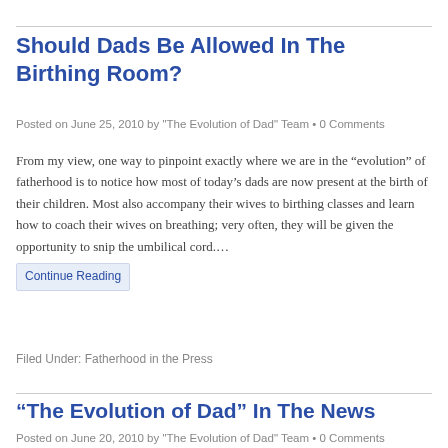Should Dads Be Allowed In The Birthing Room?
Posted on June 25, 2010 by "The Evolution of Dad" Team • 0 Comments
From my view, one way to pinpoint exactly where we are in the “evolution” of fatherhood is to notice how most of today’s dads are now present at the birth of their children. Most also accompany their wives to birthing classes and learn how to coach their wives on breathing; very often, they will be given the opportunity to snip the umbilical cord.…
Continue Reading
Filed Under: Fatherhood in the Press
“The Evolution of Dad” In The News
Posted on June 20, 2010 by "The Evolution of Dad" Team • 0 Comments